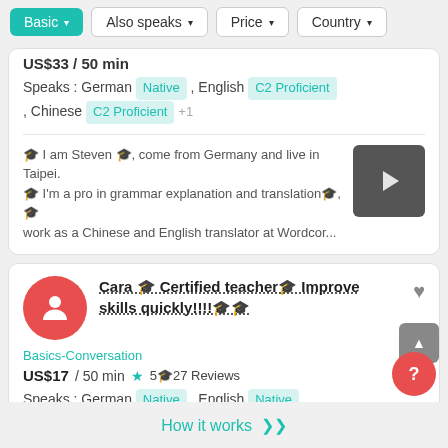Basic  Also speaks  Price  Country
US$33 / 50 min
Speaks : German Native , English C2 Proficient , Chinese C2 Proficient +1
🎓 I am Steven 🎓, come from Germany and live in Taipei. 🎓 I'm a pro in grammar explanation and translation🎓, 🎓 work as a Chinese and English translator at Wordcor...
[Figure (photo): Video thumbnail of a tutor with a play button overlay]
Cara 🎓 Certified teacher🎓 Improve skills quickly!!!!🎓🎓
Basics-Conversation
US$17 / 50 min  ★ 5🎓27 Reviews
Speaks : German Native , English Native
How it works ≫